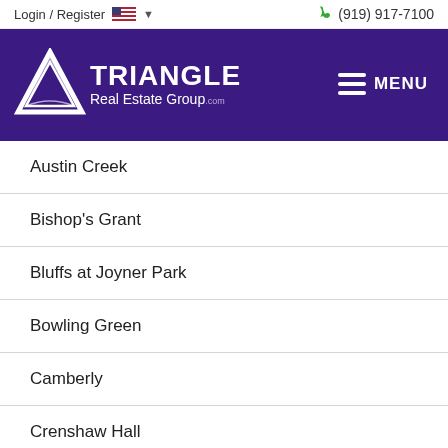Login / Register  (919) 917-7100
[Figure (logo): Triangle Real Estate Group logo with white triangle icon on purple background, with hamburger menu icon and MENU text]
Austin Creek
Bishop's Grant
Bluffs at Joyner Park
Bowling Green
Camberly
Crenshaw Hall
el Webb at Traditions
Evan...